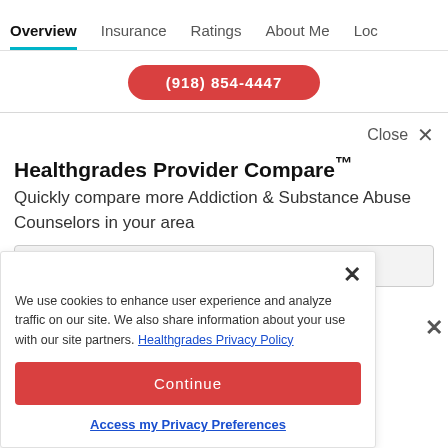Overview | Insurance | Ratings | About Me | Loc
[Figure (screenshot): Red pill-shaped phone number button, partially visible]
Close ×
Healthgrades Provider Compare™
Quickly compare more Addiction & Substance Abuse Counselors in your area
We use cookies to enhance user experience and analyze traffic on our site. We also share information about your use with our site partners. Healthgrades Privacy Policy
Continue
Access my Privacy Preferences